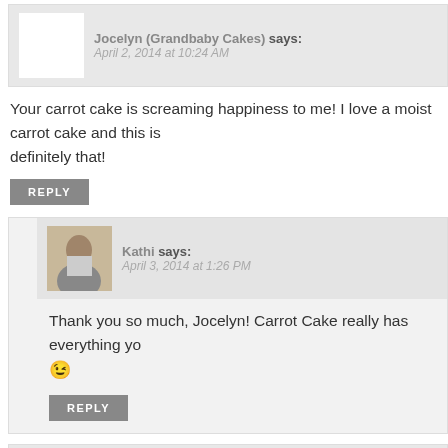Jocelyn (Grandbaby Cakes) says: April 2, 2014 at 10:24 AM
Your carrot cake is screaming happiness to me! I love a moist carrot cake and this is definitely that!
REPLY
Kathi says: April 3, 2014 at 1:26 PM
Thank you so much, Jocelyn! Carrot Cake really has everything yo 😉
REPLY
Natalie @ Tastes Lovely says: April 2, 2014 at 10:10 AM
Ummm, this carrot cake looks PERFECT! You and I would be...